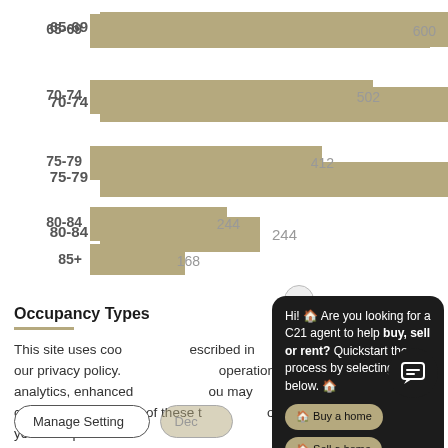[Figure (bar-chart): Age Distribution (partial)]
Occupancy Types
This site uses cookies as described in our privacy policy. operation, analytics, enhanced you may choose to consent to of these technologies, or manage your own preferences.
Hi! 🏠 Are you looking for a C21 agent to help buy, sell or rent? Quickstart the process by selecting below. 🏠